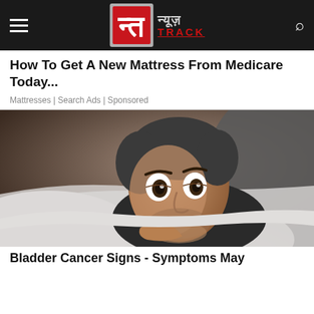न्यूज़ TRACK — Navigation bar with menu icon and search icon
How To Get A New Mattress From Medicare Today...
Mattresses | Search Ads | Sponsored
[Figure (photo): Man lying in bed with wide frightened eyes, peeking from under bedcovers]
Bladder Cancer Signs - Symptoms May